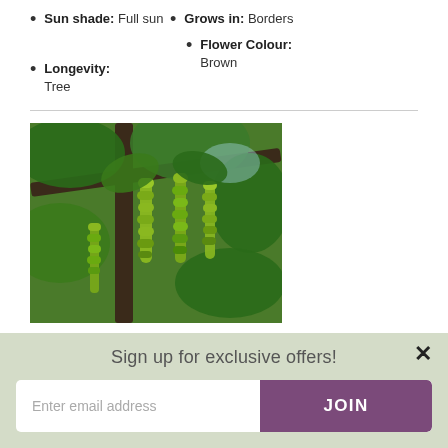Sun shade: Full sun
Grows in: Borders
Flower Colour: Brown
Longevity: Tree
[Figure (photo): Close-up photo of a tree with long green catkins hanging from dark branches surrounded by large green leaves]
Sign up for exclusive offers!
Enter email address
JOIN